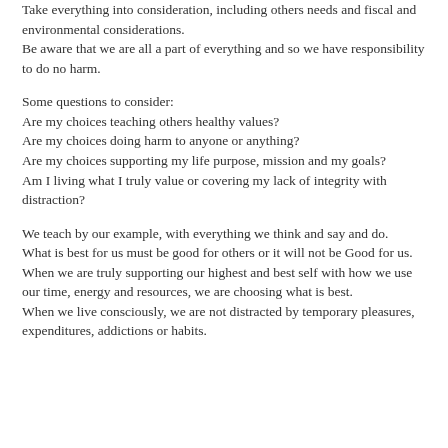Take everything into consideration, including others needs and fiscal and environmental considerations.
Be aware that we are all a part of everything and so we have responsibility to do no harm.
Some questions to consider:
Are my choices teaching others healthy values?
Are my choices doing harm to anyone or anything?
Are my choices supporting my life purpose, mission and my goals?
Am I living what I truly value or covering my lack of integrity with distraction?
We teach by our example, with everything we think and say and do.
What is best for us must be good for others or it will not be Good for us.
When we are truly supporting our highest and best self with how we use our time, energy and resources, we are choosing what is best.
When we live consciously, we are not distracted by temporary pleasures, expenditures, addictions or habits.